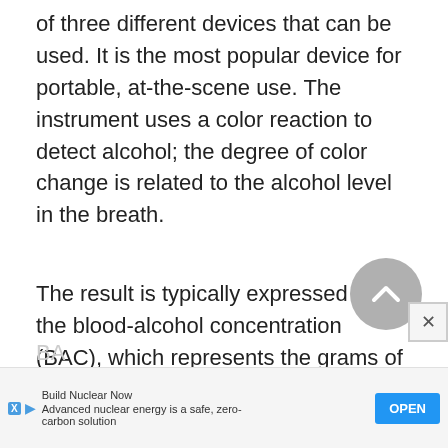of three different devices that can be used. It is the most popular device for portable, at-the-scene use. The instrument uses a color reaction to detect alcohol; the degree of color change is related to the alcohol level in the breath.
The result is typically expressed as the blood-alcohol concentration (BAC), which represents the grams of alcohol per 100 milliters of blood. The legal BA...
[Figure (other): Back-to-top circular button (grey circle with upward chevron arrow) and a close X button overlaying the text content]
[Figure (other): Advertisement banner at the bottom: 'Build Nuclear Now — Advanced nuclear energy is a safe, zero-carbon solution' with OPEN button, X icon and play icon on left]